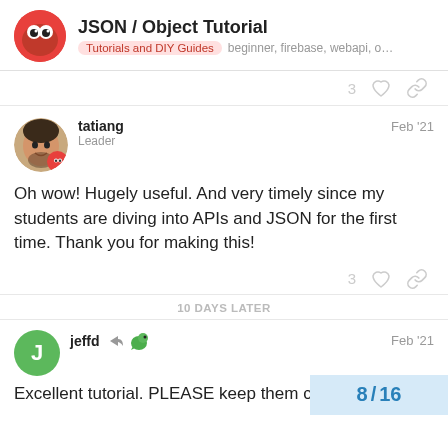JSON / Object Tutorial — Tutorials and DIY Guides, beginner, firebase, webapi, o...
3  ♡  🔗
tatiang  Leader  Feb '21
Oh wow! Hugely useful. And very timely since my students are diving into APIs and JSON for the first time. Thank you for making this!
3  ♡  🔗
10 DAYS LATER
jeffd  Feb '21
Excellent tutorial. PLEASE keep them com
8 / 16